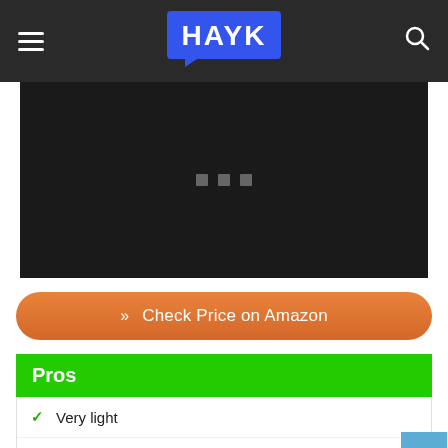HAYK
[Figure (photo): Dark/black image area with three small gray square dots/indicators centered, suggesting a loading or placeholder image carousel]
» Check Price on Amazon
Pros
Very light
Good physical build